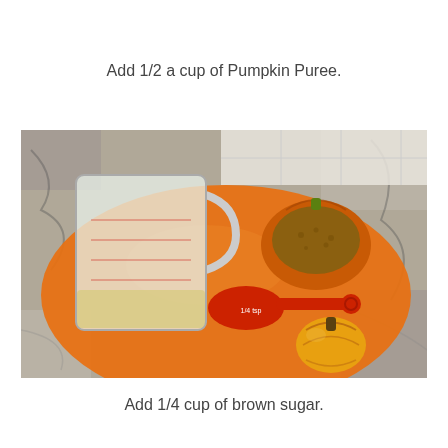Add 1/2 a cup of Pumpkin Puree.
[Figure (photo): An orange plate on a granite countertop holding a large clear plastic measuring cup with liquid, a small orange pumpkin-shaped bowl filled with brown sugar, a red 1/4 tsp measuring spoon, and a small orange ceramic pumpkin decoration.]
Add 1/4 cup of brown sugar.